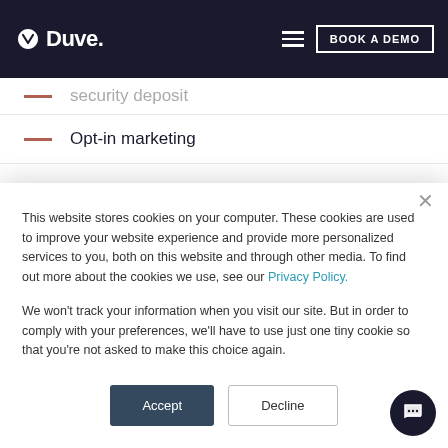Duve. — BOOK A DEMO
Opt-in marketing
Check-in link for hotel's website
Omnichannel unified inbox
This website stores cookies on your computer. These cookies are used to improve your website experience and provide more personalized services to you, both on this website and through other media. To find out more about the cookies we use, see our Privacy Policy.
We won't track your information when you visit our site. But in order to comply with your preferences, we'll have to use just one tiny cookie so that you're not asked to make this choice again.